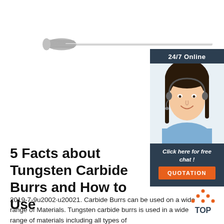[Figure (photo): Tungsten carbide burr rotary tool — a long cylindrical cutting bit with fluted head on left and thin shank extending to the right]
[Figure (photo): Customer service representative — woman with headset, dark hair, smiling, wearing blue shirt; overlay with '24/7 Online' header, 'Click here for free chat!' text, and orange QUOTATION button]
5 Facts about Tungsten Carbide Burrs and How to Use
2019-7-9u2002·u20021. Carbide Burrs can be used on a wide range of Materials. Tungsten carbide burrs is used in a wide range of materials including all types of
[Figure (logo): Orange and dark 'TOP' button with orange dot triangle above the word TOP]